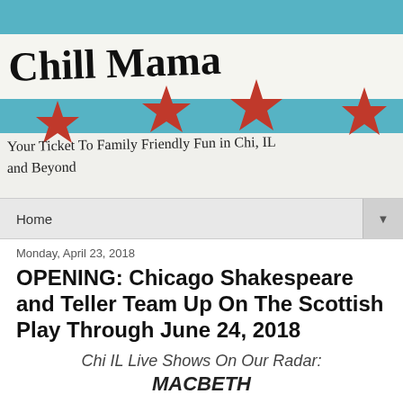[Figure (illustration): Chill Mama blog header banner showing Chicago flag (white and light blue horizontal stripes) with four red six-pointed stars, and handwritten-style text 'Chill Mama' and 'Your Ticket To Family Friendly Fun in Chi, IL and Beyond']
Home ▼
Monday, April 23, 2018
OPENING: Chicago Shakespeare and Teller Team Up On The Scottish Play Through June 24, 2018
Chi IL Live Shows On Our Radar:
MACBETH